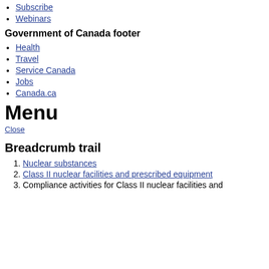Subscribe
Webinars
Government of Canada footer
Health
Travel
Service Canada
Jobs
Canada.ca
Menu
Close
Breadcrumb trail
Nuclear substances
Class II nuclear facilities and prescribed equipment
Compliance activities for Class II nuclear facilities and